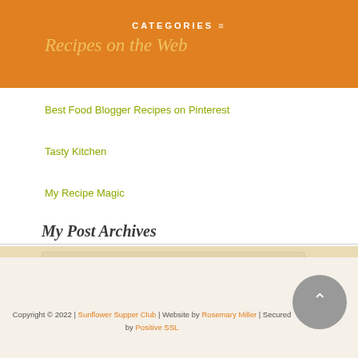CATEGORIES
Recipes on the Web
Best Food Blogger Recipes on Pinterest
Tasty Kitchen
My Recipe Magic
My Post Archives
Select Month
Recipes By Category
Select Category
Copyright © 2022 | Sunflower Supper Club | Website by Rosemary Miller | Secured by Positive SSL